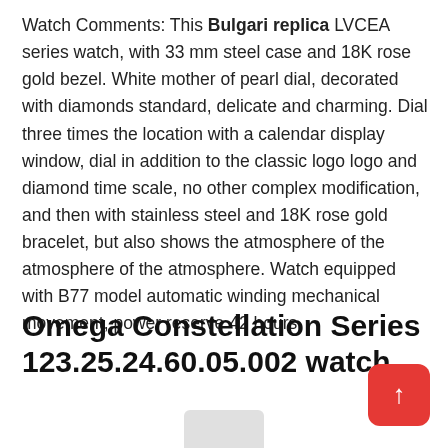Watch Comments: This Bulgari replica LVCEA series watch, with 33 mm steel case and 18K rose gold bezel. White mother of pearl dial, decorated with diamonds standard, delicate and charming. Dial three times the location with a calendar display window, dial in addition to the classic logo logo and diamond time scale, no other complex modification, and then with stainless steel and 18K rose gold bracelet, but also shows the atmosphere of the atmosphere of the atmosphere. Watch equipped with B77 model automatic winding mechanical movement, power reserve 42 hours.
Omega Constellation Series 123.25.24.60.05.002 watch